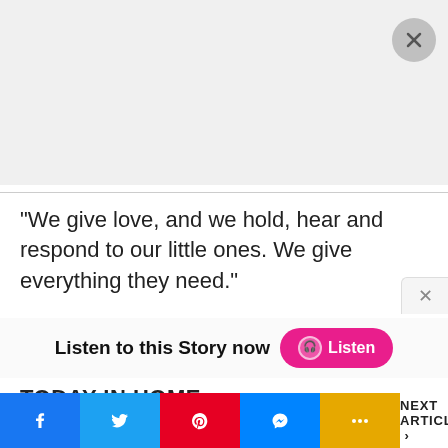[Figure (other): Gray advertisement placeholder area with a circular close button (X) in the top-right corner]
“We give love, and we hold, hear and respond to our little ones. We give everything they need.”
Listen to this Story now  Listen
TODAY IN HOME
[Figure (other): Social sharing bar with Facebook, Twitter, Pinterest, Messenger, More buttons and NEXT ARTICLE link]